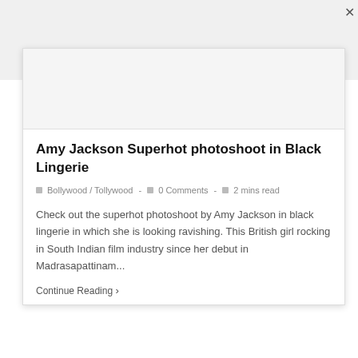Amy Jackson Superhot photoshoot in Black Lingerie
🏷 Bollywood / Tollywood - 💬 0 Comments - 🕐 2 mins read
Check out the superhot photoshoot by Amy Jackson in black lingerie in which she is looking ravishing. This British girl rocking in South Indian film industry since her debut in Madrasapattinam...
Continue Reading ›